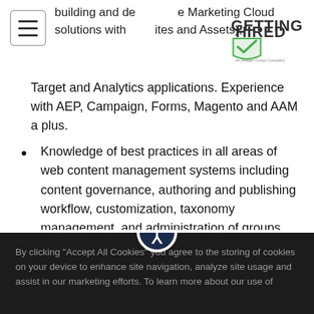[Figure (logo): Getting Hired logo — An Allegis Group Company]
building and designing the Marketing Cloud solutions with (Sites and Assets), Target and Analytics applications. Experience with AEP, Campaign, Forms, Magento and AAM a plus.
Knowledge of best practices in all areas of web content management systems including content governance, authoring and publishing workflow, customization, taxonomy management, and administration of groups, access control lists and permissions
Experience with defining, designing and implementing a development architecture
By clicking "Accept All Cookies" you agree to the storing of cookies on your device to enhance site navigation, analyze site usage and assist in our marketing efforts. To learn more about our use of